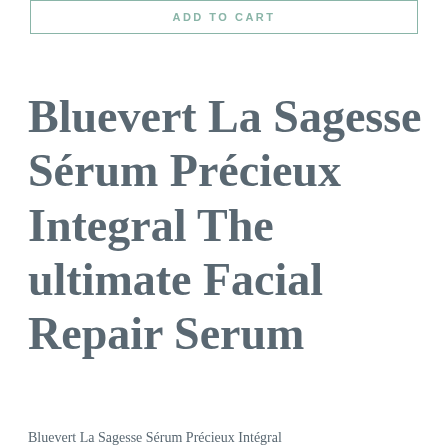ADD TO CART
Bluevert La Sagesse Sérum Précieux Integral The ultimate Facial Repair Serum
Bluevert La Sagesse Sérum Précieux Intégral